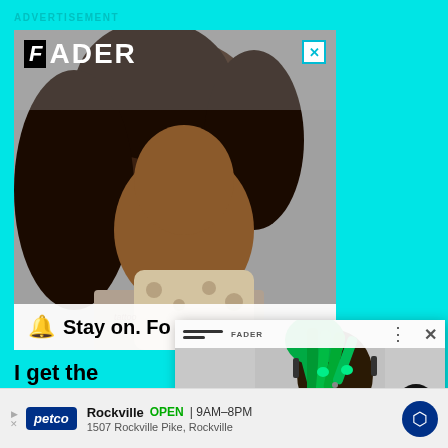ADVERTISEMENT
[Figure (photo): FADER magazine advertisement showing a tattooed woman hugging a leopard-print pillow, with FADER logo top left, close button top right, and 'Stay on. Fo' text at bottom]
[Figure (screenshot): Popup card showing animated rapper FN Meka with green dreadlocks and glowing eyes, with headline 'Animated rapper FN Meka dropped from Capitol Records']
I get the impressio you come off wors
Rockville  OPEN | 9AM–8PM  1507 Rockville Pike, Rockville